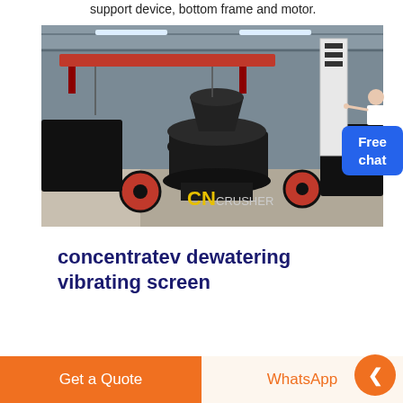support device, bottom frame and motor.
[Figure (photo): Industrial factory floor showing large black cone crushers (CN Crusher branded) lined up in a warehouse with red overhead cranes, red wheels visible on machinery, concrete floor with yellow markings.]
Free chat
concentratev dewatering vibrating screen
Get a Quote
WhatsApp